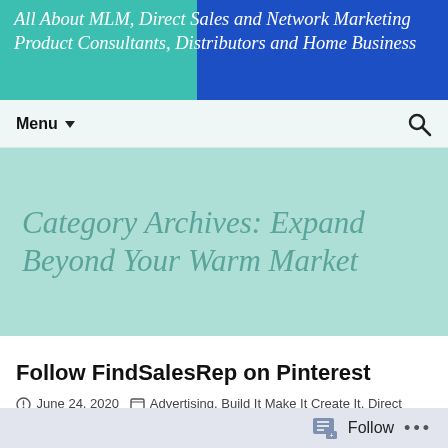All About MLM, Direct Sales and Network Marketing Product Consultants, Distributors and Home Business
Menu
Category Archives: Expand Beyond Your Warm Market
Follow FindSalesRep on Pinterest
June 24, 2020 — Advertising, Build It Make It Create It, Direct Sales Services and Opportunities, Entrepreneurs ONLY, Expand Beyond Your Warm Market, Favorite Things, Featured Reps, FSR on...
Follow ...